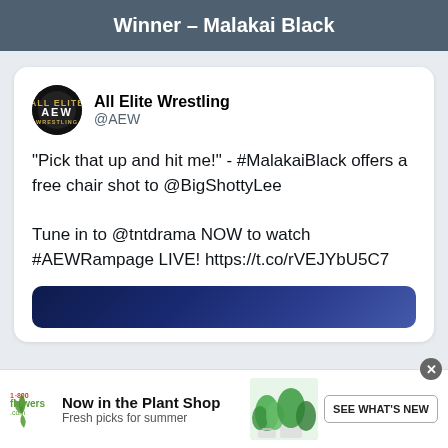Winner – Malakai Black
[Figure (screenshot): AEW Twitter account avatar - black circle with AEW wrestling logo in gold and white]
All Elite Wrestling @AEW
"Pick that up and hit me!" - #MalakaiBlack offers a free chair shot to @BigShottyLee

Tune in to @tntdrama NOW to watch #AEWRampage LIVE! https://t.co/rVEJYbU5C7
[Figure (photo): Partial media preview with dark blue/navy background, appears to be a wrestling-related image]
[Figure (logo): 1-800-Flowers.com advertisement banner: Now in the Plant Shop - Fresh picks for summer, with plant photo and SEE WHAT'S NEW button]